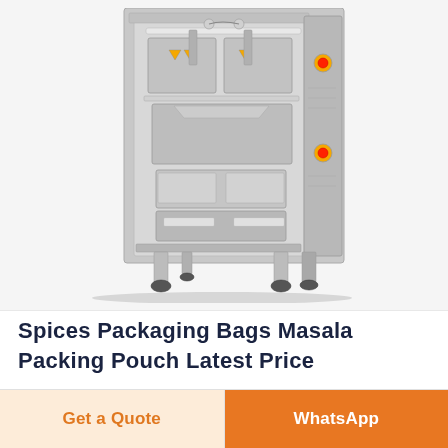[Figure (photo): Industrial vertical form fill seal packaging machine, stainless steel body with mechanical components, two red control buttons on right panel, standing on rubber feet]
Spices Packaging Bags Masala Packing Pouch Latest Price
Get a Quote
WhatsApp